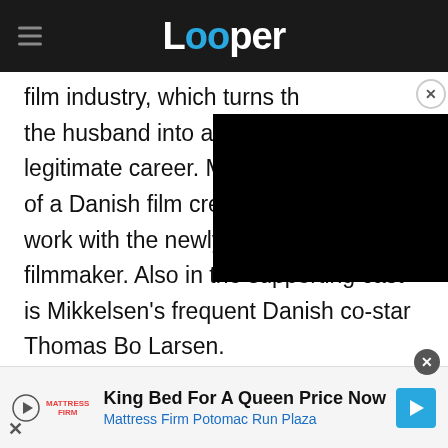Looper
film industry, which turns th[e] the husband into an auteur [with a] legitimate career. Mads Mik[kelsen] of a Danish film crew that h[ired him to] work with the newly discovered filmmaker. Also in the supporting cast is Mikkelsen's frequent Danish co-star Thomas Bo Larsen.
[Figure (other): Black video player overlay rectangle in the top-right of the content area with a close (X) button.]
[Figure (other): Advertisement banner: Mattress Firm ad reading 'King Bed For A Queen Price Now' and 'Mattress Firm Potomac Run Plaza' with logo and arrow icon.]